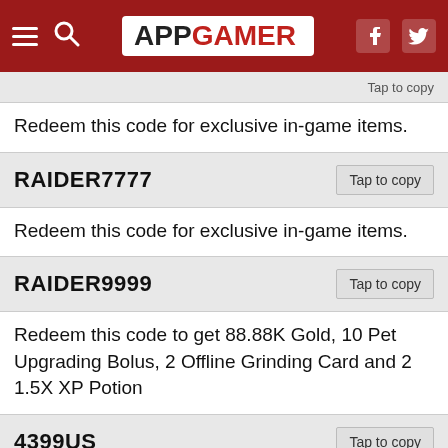APP GAMER
Redeem this code for exclusive in-game items.
| Code | Action |
| --- | --- |
| RAIDER7777 | Tap to copy |
Redeem this code for exclusive in-game items.
| Code | Action |
| --- | --- |
| RAIDER9999 | Tap to copy |
Redeem this code to get 88.88K Gold, 10 Pet Upgrading Bolus, 2 Offline Grinding Card and 2 1.5X XP Potion
| Code | Action |
| --- | --- |
| 4399US | Tap to copy |
Redeem this code for exclusive in-game items.